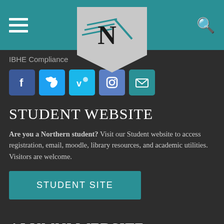[Figure (screenshot): University website navigation bar with teal background, hamburger menu on left, Northern Illinois University logo badge in center, search icon on right]
IBHE Compliance
[Figure (infographic): Social media icons row: Facebook (blue), Twitter (light blue), Vimeo (light blue), Instagram (blue-purple), Email (teal)]
STUDENT WEBSITE
Are you a Northern student? Visit our Student website to access registration, email, moodle, library resources, and academic utilities. Visitors are welcome.
STUDENT SITE
ALUMNI WEBSITE
Are you a Northern graduate? Visit our Alumni website to